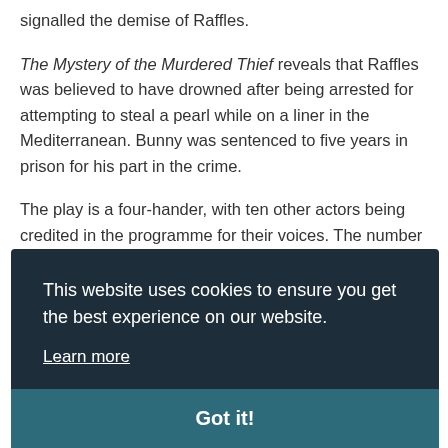signalled the demise of Raffles.
The Mystery of the Murdered Thief reveals that Raffles was believed to have drowned after being arrested for attempting to steal a pearl while on a liner in the Mediterranean. Bunny was sentenced to five years in prison for his part in the crime.
The play is a four-hander, with ten other actors being credited in the programme for their voices. The number of on-stage actors
This website uses cookies to ensure you get the best experience on our website.
Learn more
Got it!